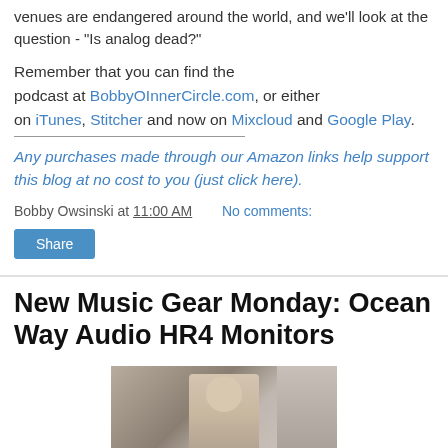venues are endangered around the world, and we'll look at the question - "Is analog dead?"
Remember that you can find the podcast at BobbyOInnerCircle.com, or either on iTunes, Stitcher and now on Mixcloud and Google Play.
Any purchases made through our Amazon links help support this blog at no cost to you (just click here).
Bobby Owsinski at 11:00 AM   No comments:
Share
New Music Gear Monday: Ocean Way Audio HR4 Monitors
[Figure (photo): Photo of a person standing in front of audio equipment/monitors]